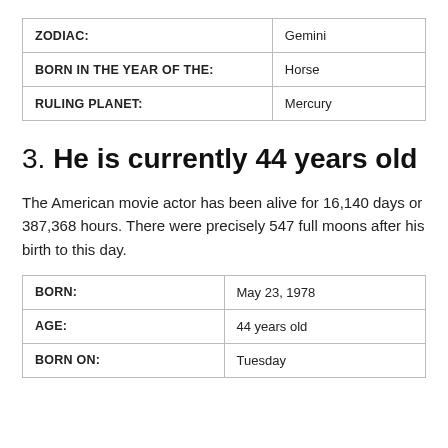| ZODIAC: | Gemini |
| BORN IN THE YEAR OF THE: | Horse |
| RULING PLANET: | Mercury |
3. He is currently 44 years old
The American movie actor has been alive for 16,140 days or 387,368 hours. There were precisely 547 full moons after his birth to this day.
| BORN: | May 23, 1978 |
| AGE: | 44 years old |
| BORN ON: | Tuesday |